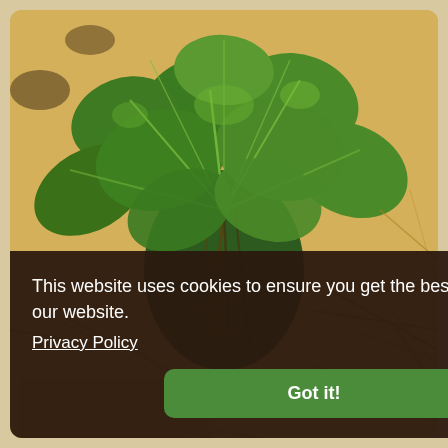[Figure (photo): Overhead close-up photo of green leafy plants (sweet potato or similar broad-leaf plants) growing on a bed of dry straw/hay. The leaves are vibrant green with white veining, stems gathered at center, surrounded by golden-brown dried grass.]
This website uses cookies to ensure you get the best experience on our website.
Privacy Policy
Got it!